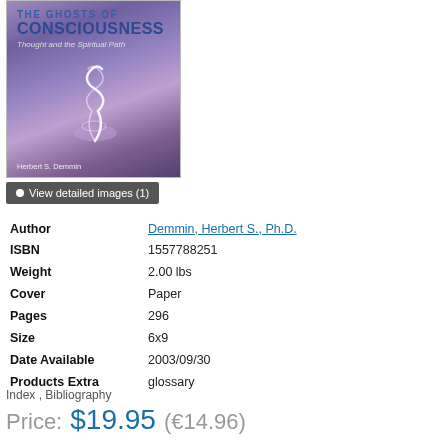[Figure (illustration): Book cover for 'The Ghosts of Consciousness: Thought and the Spiritual Path' by Herbert S. Demmin. Purple/violet background with a glowing white swirl/spiral. Title in dark blue bold text.]
View detailed images (1)
| Author | Demmin, Herbert S., Ph.D. |
| ISBN | 1557788251 |
| Weight | 2.00 lbs |
| Cover | Paper |
| Pages | 296 |
| Size | 6x9 |
| Date Available | 2003/09/30 |
| Products Extra | glossary |
Index , Bibliography
Price:  $19.95 (€14.96)